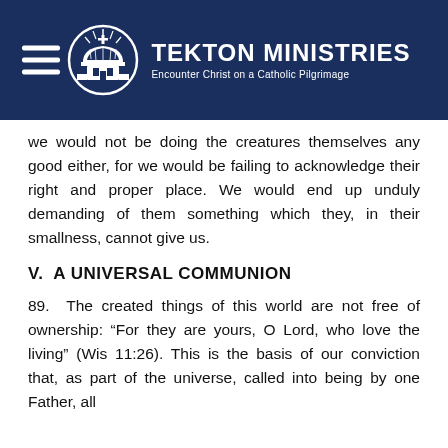[Figure (logo): Tekton Ministries logo with hamburger menu icon, circular emblem showing a domed church with cross and rays, beside bold text 'TEKTON MINISTRIES' and subtitle 'Encounter Christ on a Catholic Pilgrimage' on dark navy background]
we would not be doing the creatures themselves any good either, for we would be failing to acknowledge their right and proper place. We would end up unduly demanding of them something which they, in their smallness, cannot give us.
V. A UNIVERSAL COMMUNION
89. The created things of this world are not free of ownership: “For they are yours, O Lord, who love the living” (Wis 11:26). This is the basis of our conviction that, as part of the universe, called into being by one Father, all